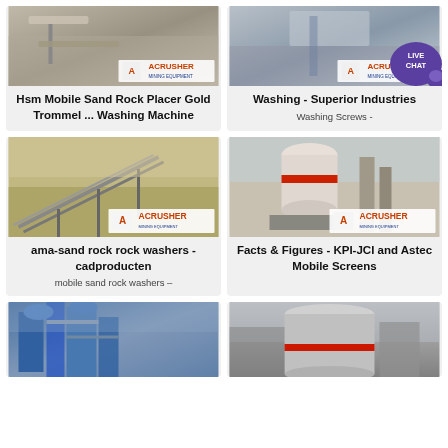[Figure (photo): Mining equipment photo with ACRUSHER branding - Hsm Mobile Sand Rock Placer Gold Trommel Washing Machine]
Hsm Mobile Sand Rock Placer Gold Trommel ... Washing Machine
[Figure (photo): Mining equipment photo with ACRUSHER branding and LIVE CHAT bubble - Washing Superior Industries]
Washing - Superior Industries
Washing Screws -
[Figure (photo): Mining conveyor equipment photo with ACRUSHER branding - ama-sand rock rock washers cadproducten]
ama-sand rock rock washers - cadproducten
mobile sand rock washers –
[Figure (photo): Large industrial mill/grinder with ACRUSHER branding - Facts & Figures KPI-JCI and Astec Mobile Screens]
Facts & Figures - KPI-JCI and Astec Mobile Screens
[Figure (photo): Industrial processing plant equipment - bottom left]
[Figure (photo): Industrial cylindrical equipment with red band - bottom right]